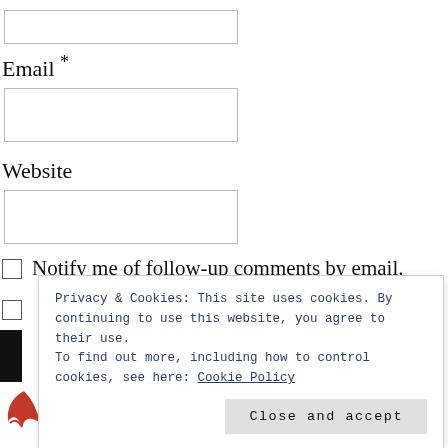Email *
Website
Notify me of follow-up comments by email.
Privacy & Cookies: This site uses cookies. By continuing to use this website, you agree to their use. To find out more, including how to control cookies, see here: Cookie Policy
Close and accept